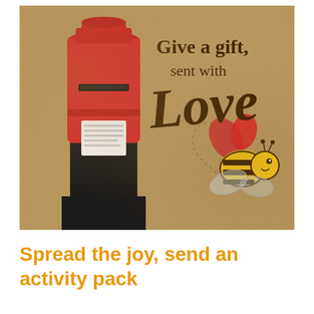[Figure (illustration): Kraft paper background illustration showing a red British pillar box (post box) on the left with a black base, and on the right the text 'Give a gift, sent with Love' in dark brown serif/script lettering, with a cartoon bee wearing heart-shaped wings in red/brown and a yellow-and-black striped body, with a dotted flight path trail.]
Spread the joy, send an activity pack